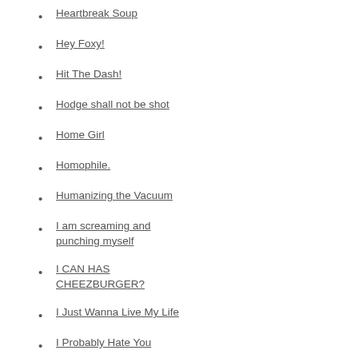Heartbreak Soup
Hey Foxy!
Hit The Dash!
Hodge shall not be shot
Home Girl
Homophile.
Humanizing the Vacuum
I am screaming and punching myself
I CAN HAS CHEEZBURGER?
I Just Wanna Live My Life
I Probably Hate You
I, Asshole
In a vault underground
James Clar
janimation
Jessica Grose
Jezebel